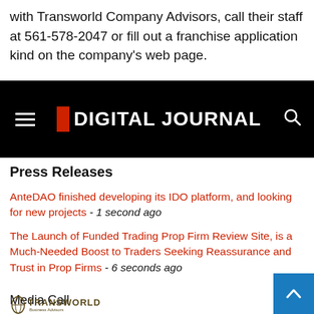with Transworld Company Advisors, call their staff at 561-578-2047 or fill out a franchise application kind on the company's web page.
[Figure (logo): Digital Journal website header banner with hamburger menu icon on left, Digital Journal logo in center (red square followed by white text 'DIGITAL JOURNAL'), and search icon on right, all on black background.]
Press Releases
AnteDAO finished developing its IDO platform, and looking for new projects - 1 second ago
The Launch of Funded Trading Prop Firm Review Site, is a Much-Needed Boost to Traders Seeking Reassurance and Trust in Prop Firms - 6 seconds ago
Media Call
[Figure (logo): Transworld Business Advisors logo with globe icon and text 'TRANSWORLD Business Advisors - Business Sales • Franchises • Mergers & Acquisitions']